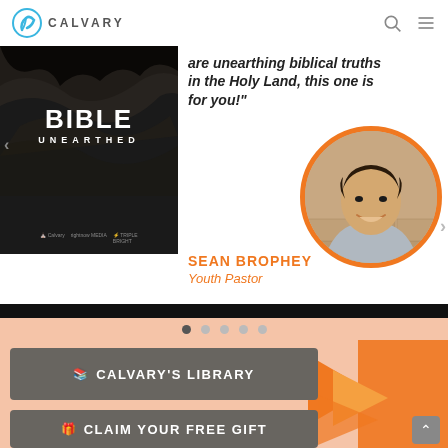CALVARY
[Figure (photo): Bible Unearthed book/video cover with dark rocky background and logos for Calvary, RightNow Media, and Triple Braid]
are unearthing biblical truths in the Holy Land, this one is for you!"
[Figure (photo): Circular portrait photo of Sean Brophey, smiling young man in a grey hoodie, with an orange circular border]
SEAN BROPHEY
Youth Pastor
📚 CALVARY'S LIBRARY
🎁 CLAIM YOUR FREE GIFT